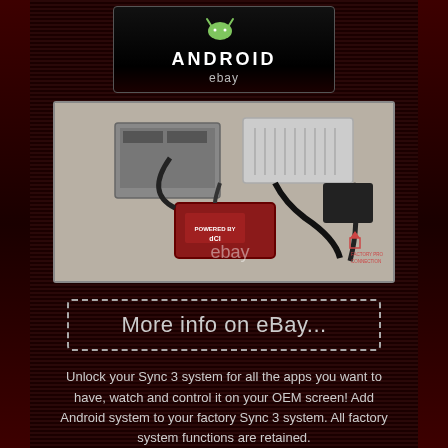[Figure (logo): Android eBay logo on dark background showing Android robot icon with text 'ANDROID' and 'ebay']
[Figure (photo): Product photo showing car audio electronic components including circuit boards, wiring harness, red Android module labeled 'POWERED BY dCI', with watermark 'ebay' and 'FACTORY PRO CONNECTION' label in corner]
More info on eBay...
Unlock your Sync 3 system for all the apps you want to have, watch and control it on your OEM screen! Add Android system to your factory Sync 3 system. All factory system functions are retained.